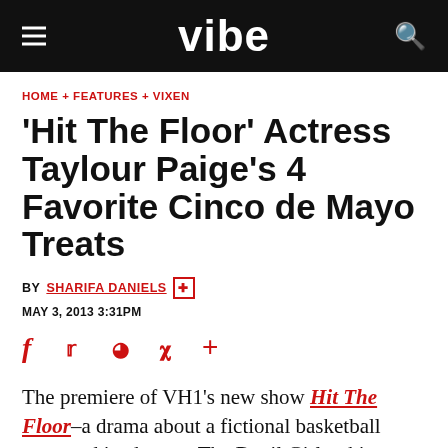VIBE
HOME + FEATURES + VIXEN
'Hit The Floor' Actress Taylour Paige's 4 Favorite Cinco de Mayo Treats
BY SHARIFA DANIELS [follow icon]
MAY 3, 2013 3:31PM
[Figure (other): Social share icons: Facebook, Twitter, Reddit, Pinterest, Plus]
The premiere of VH1's new show Hit The Floor–a drama about a fictional basketball team and its dancers The Devil Girls–shines light on acting